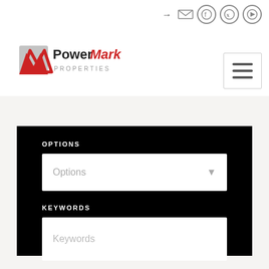[Figure (logo): PowerMark Properties logo with red and grey M icon and bold text]
[Figure (other): Hamburger menu icon button with three horizontal lines]
OPTIONS
Options (dropdown selector)
KEYWORDS
Keywords (text input placeholder)
Search